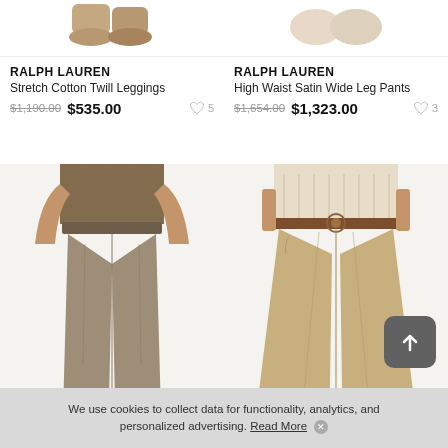[Figure (photo): Partial view of shoes/boots from Ralph Lauren product listing, left item]
[Figure (photo): Partial view of shoes/boots from Ralph Lauren product listing, right item]
RALPH LAUREN
Stretch Cotton Twill Leggings
$1,190.00 $535.00 ♡ 5
RALPH LAUREN
High Waist Satin Wide Leg Pants
$1,654.00 $1,323.00 ♡ 3
[Figure (photo): Woman wearing khaki/taupe stretch cotton twill leggings, Ralph Lauren, full length view from waist down]
[Figure (photo): Woman wearing khaki high waist satin wide leg pants with brown belt, Ralph Lauren, full length view from waist down]
We use cookies to collect data for functionality, analytics, and personalized advertising. Read More ✕